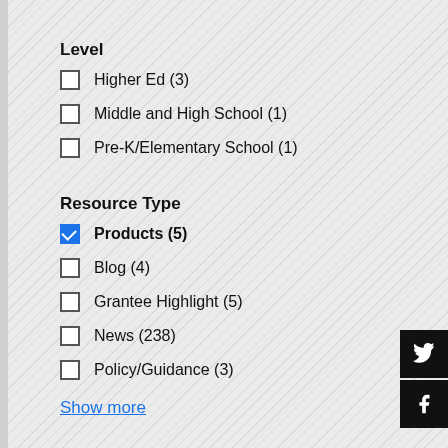Level
Higher Ed (3)
Middle and High School (1)
Pre-K/Elementary School (1)
Resource Type
Products (5)
Blog (4)
Grantee Highlight (5)
News (238)
Policy/Guidance (3)
Show more
Role
Community (1)